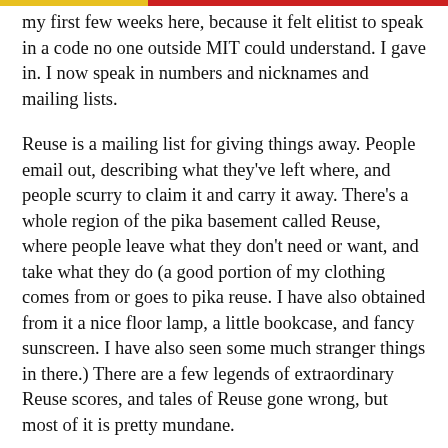my first few weeks here, because it felt elitist to speak in a code no one outside MIT could understand. I gave in. I now speak in numbers and nicknames and mailing lists.
Reuse is a mailing list for giving things away. People email out, describing what they've left where, and people scurry to claim it and carry it away. There's a whole region of the pika basement called Reuse, where people leave what they don't need or want, and take what they do (a good portion of my clothing comes from or goes to pika reuse. I have also obtained from it a nice floor lamp, a little bookcase, and fancy sunscreen. I have also seen some much stranger things in there.) There are a few legends of extraordinary Reuse scores, and tales of Reuse gone wrong, but most of it is pretty mundane.
The author of MIT Reuse Poetry takes Reuse emails, adds line breaks, and makes poems that are sometimes pretty, sometimes mundane, and sometimes leave you with the feeling you have looked into someone's life through their belongings, or seen the chaos of the world